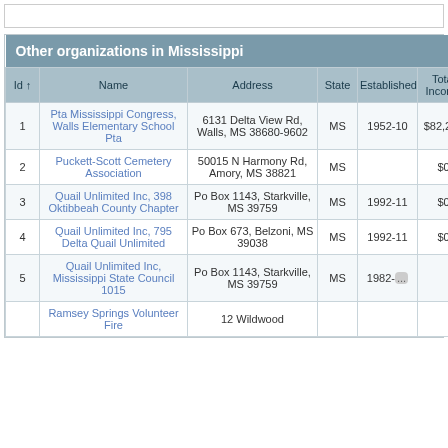| Id ↑ | Name | Address | State | Established | Total Income |
| --- | --- | --- | --- | --- | --- |
| 1 | Pta Mississippi Congress, Walls Elementary School Pta | 6131 Delta View Rd, Walls, MS 38680-9602 | MS | 1952-10 | $82,257 |
| 2 | Puckett-Scott Cemetery Association | 50015 N Harmony Rd, Amory, MS 38821 | MS |  | $0 |
| 3 | Quail Unlimited Inc, 398 Oktibbeah County Chapter | Po Box 1143, Starkville, MS 39759 | MS | 1992-11 | $0 |
| 4 | Quail Unlimited Inc, 795 Delta Quail Unlimited | Po Box 673, Belzoni, MS 39038 | MS | 1992-11 | $0 |
| 5 | Quail Unlimited Inc, Mississippi State Council 1015 | Po Box 1143, Starkville, MS 39759 | MS | 1982-... | $... |
|  | Ramsey Springs Volunteer Fire | 12 Wildwood... |  |  |  |